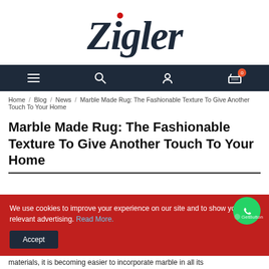[Figure (logo): Zigler brand logo in dark navy script font with a red dot accent above the 'i']
Navigation bar with hamburger menu, search, account, and cart icons
Home / Blog / News / Marble Made Rug: The Fashionable Texture To Give Another Touch To Your Home
Marble Made Rug: The Fashionable Texture To Give Another Touch To Your Home
We use cookies to improve your experience on our site and to show your relevant advertising. Read More.
materials, it is becoming easier to incorporate marble in all its